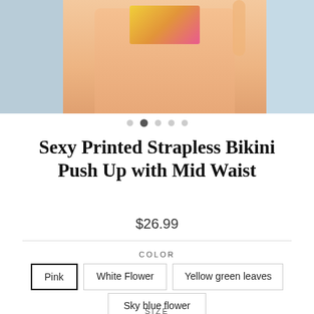[Figure (photo): Product photo of a person wearing a yellow-pink printed strapless bikini, cropped to show torso and legs, with beach background on sides]
Sexy Printed Strapless Bikini Push Up with Mid Waist
$26.99
COLOR
Pink (selected)
White Flower
Yellow green leaves
Sky blue flower
SIZE